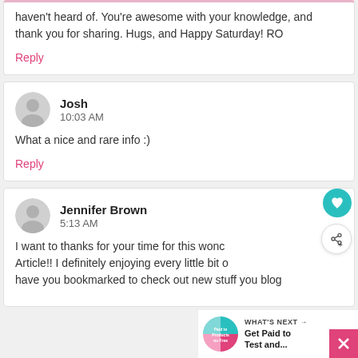haven't heard of. You're awesome with your knowledge, and thank you for sharing. Hugs, and Happy Saturday! RO
Reply
Josh
10:03 AM
What a nice and rare info :)
Reply
Jennifer Brown
5:13 AM
I want to thanks for your time for this wonderful Article!! I definitely enjoying every little bit of it and I have you bookmarked to check out new stuff you blog